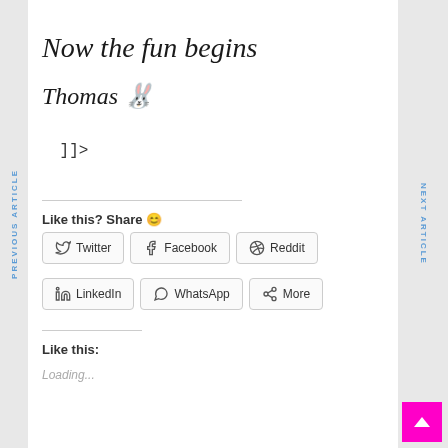Now the fun begins
Thomas 🐰
]]>
Like this? Share 😊
Twitter
Facebook
Reddit
LinkedIn
WhatsApp
More
Like this:
Loading...
PREVIOUS ARTICLE
NEXT ARTICLE